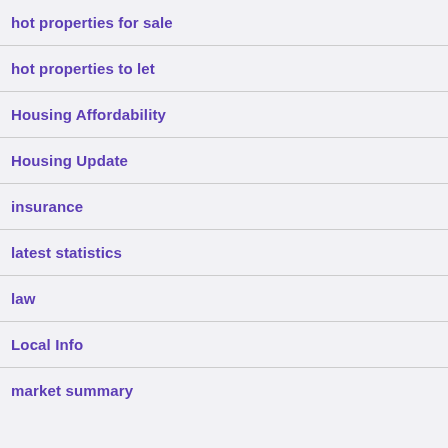hot properties for sale
hot properties to let
Housing Affordability
Housing Update
insurance
latest statistics
law
Local Info
market summary